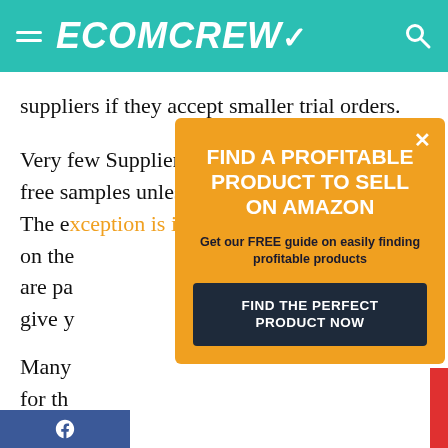ECOMCREW
suppliers if they accept smaller trial orders.
Very few Suppliers are going to give out any free samples unless you visit their factory. The e[xception is in the last couple of k]on the[ir...] are pa[...] give y[ou...]
[Figure (screenshot): Orange popup modal with dark close button (x), white bold title 'FIND A PROFITABLE PRODUCT TO SELL ON AMAZON', subtitle 'Get our FREE guide on easily finding profitable products', and dark navy button 'FIND THE PERFECT PRODUCT NOW']
Many [...]for th[e...]